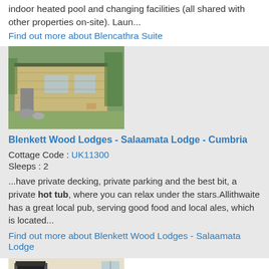indoor heated pool and changing facilities (all shared with other properties on-site). Laun...
Find out more about Blencathra Suite
[Figure (photo): Exterior photo of a modern wooden lodge with large windows and patio furniture, surrounded by greenery and rocks]
Blenkett Wood Lodges - Salaamata Lodge - Cumbria
Cottage Code : UK11300
Sleeps : 2
...have private decking, private parking and the best bit, a private hot tub, where you can relax under the stars.Allithwaite has a great local pub, serving good food and local ales, which is located...
Find out more about Blenkett Wood Lodges - Salaamata Lodge
[Figure (photo): Interior photo of a living room with fireplace, seating, and dining area with plants]